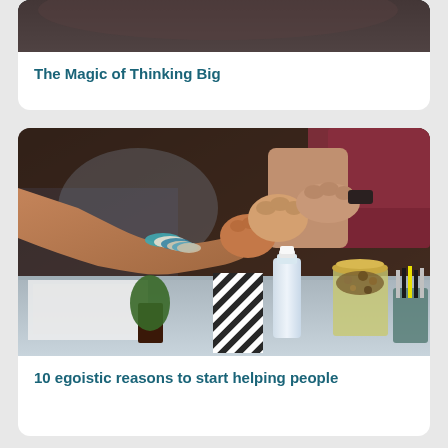[Figure (photo): Partial view of people fist-bumping over a table, cut off at top of page]
The Magic of Thinking Big
[Figure (photo): People doing a group fist bump over a desk/table with water bottle, jar of snacks, pencil holder, and striped box visible]
10 egoistic reasons to start helping people